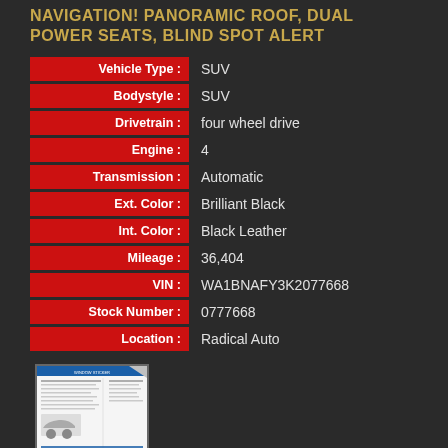NAVIGATION! PANORAMIC ROOF, DUAL POWER SEATS, BLIND SPOT ALERT
| Label | Value |
| --- | --- |
| Vehicle Type : | SUV |
| Bodystyle : | SUV |
| Drivetrain : | four wheel drive |
| Engine : | 4 |
| Transmission : | Automatic |
| Ext. Color : | Brilliant Black |
| Int. Color : | Black Leather |
| Mileage : | 36,404 |
| VIN : | WA1BNAFY3K2077668 |
| Stock Number : | 0777668 |
| Location : | Radical Auto |
[Figure (other): Window Sticker document thumbnail image]
Window Sticker